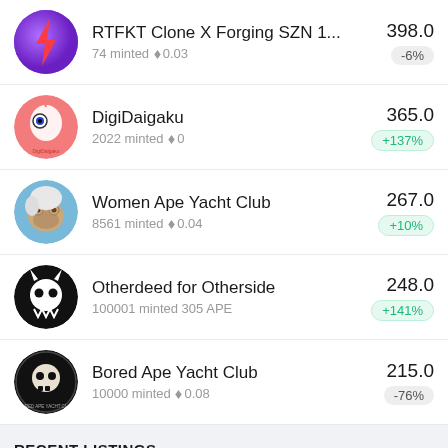RTFKT Clone X Forging SZN 1...  398.0  -6%  74 minted ◆0.03
DigiDaigaku  365.0  +137%  2022 minted ◆0
Women Ape Yacht Club  267.0  +10%  8561 minted ◆0.04
Otherdeed for Otherside  248.0  +141%  100001 minted 305 APE
Bored Ape Yacht Club  215.0  -76%  10000 minted ◆0.08
RECENT LISTINGS